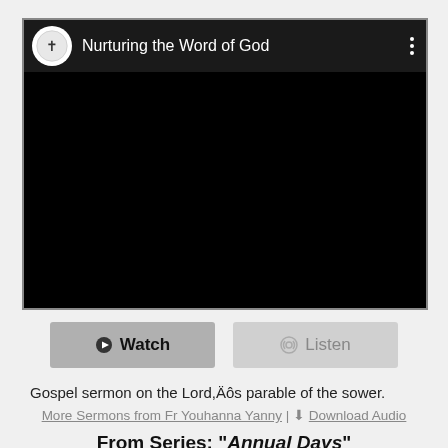[Figure (screenshot): YouTube-style video player showing 'Nurturing the Word of God' channel with a black video area, channel logo, and three-dot menu]
Watch   Listen
Gospel sermon on the Lord,Äôs parable of the sower.
More Sermons from Fr Youhanna Yanny | Download Audio
From Series: "Annual Days"